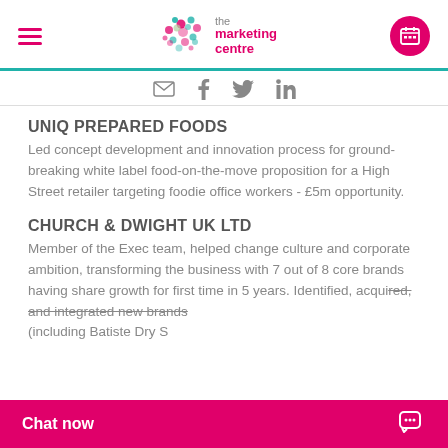the marketing centre
UNIQ PREPARED FOODS
Led concept development and innovation process for ground-breaking white label food-on-the-move proposition for a High Street retailer targeting foodie office workers - £5m opportunity.
CHURCH & DWIGHT UK LTD
Member of the Exec team, helped change culture and corporate ambition, transforming the business with 7 out of 8 core brands having share growth for first time in 5 years. Identified, acquired, and integrated new brands (including Batiste Dry S...